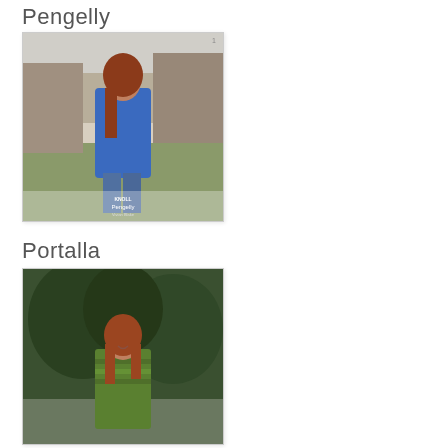Pengelly
[Figure (photo): Woman with red hair wearing a blue knit sweater/cardigan standing outdoors on rocky terrain with green grass. The image has a 'Pengelly' label overlay at the bottom.]
Portalla
[Figure (photo): Woman with red hair wearing a green patterned knit sweater standing outdoors with trees in the background.]